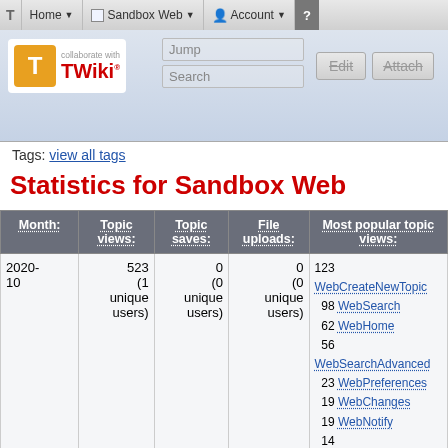T  Home ▼  Sandbox Web ▼  Account ▼  ?
[Figure (logo): TWiki logo with orange T icon and 'collaborate with TWiki' text, alongside Jump and Search input boxes and Edit/Attach buttons]
Tags: view all tags
Statistics for Sandbox Web
| Month: | Topic views: | Topic saves: | File uploads: | Most popular topic views: |
| --- | --- | --- | --- | --- |
| 2020-10 | 523 (1 unique users) | 0 (0 unique users) | 0 (0 unique users) | 123 WebCreateNewTopic
98 WebSearch
62 WebHome
56 WebSearchAdvanced
23 WebPreferences
19 WebChanges
19 WebNotify
14 PluginTestJQueryPlugin
12 WebSearchAttachments |